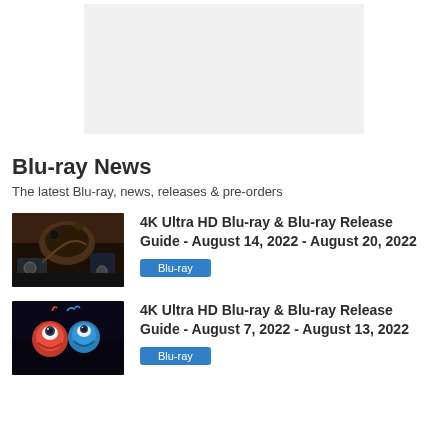[Figure (other): Gray advertisement placeholder box]
Blu-ray News
The latest Blu-ray, news, releases & pre-orders
[Figure (photo): Jurassic World dinosaur scene thumbnail]
4K Ultra HD Blu-ray & Blu-ray Release Guide - August 14, 2022 - August 20, 2022
Blu-ray
[Figure (photo): Sonic the Hedgehog movie thumbnail with Sonic and Knuckles]
4K Ultra HD Blu-ray & Blu-ray Release Guide - August 7, 2022 - August 13, 2022
Blu-ray